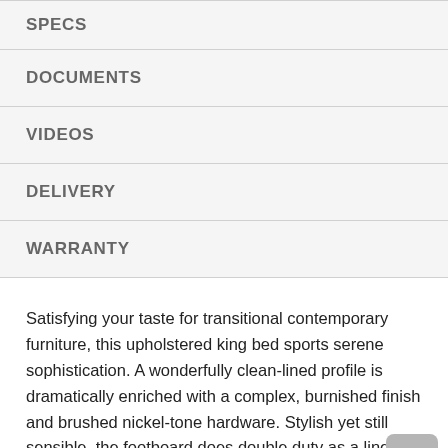SPECS
DOCUMENTS
VIDEOS
DELIVERY
WARRANTY
Satisfying your taste for transitional contemporary furniture, this upholstered king bed sports serene sophistication. A wonderfully clean-lined profile is dramatically enriched with a complex, burnished finish and brushed nickel-tone hardware. Stylish yet still sensible, the footboard does double duty as a linen chest with a pair of smooth-gliding drawers. The headboard's graceful curves and luxurious channel-stitched upholstery strike the perfect balance of ease and elegance at a price